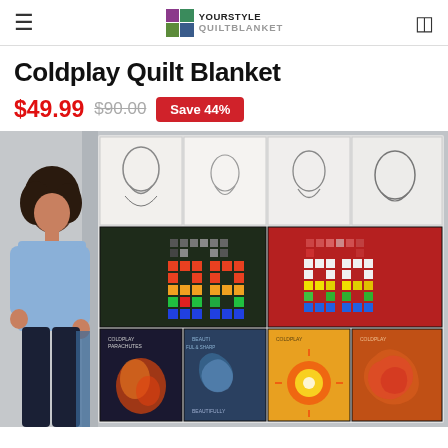YOURSTYLE QUILTBLANKET
Coldplay Quilt Blanket
$49.99  $90.00  Save 44%
[Figure (photo): Product photo of a Coldplay Quilt Blanket showing a woman standing next to a large quilt with multiple Coldplay album covers arranged in a grid pattern. The quilt includes album artwork panels in white/sketch style on top row, dark green and red panels in middle row featuring colorful pixel art designs, and colorful album cover panels on the bottom row.]